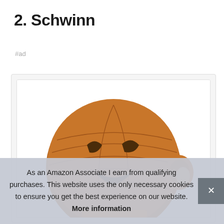2. Schwinn
#ad
[Figure (photo): Product photo of a brown textured bear/animal toy resembling a basketball-textured character, shown from the front with cutout eyes and mouth, displayed in an e-commerce card layout]
As an Amazon Associate I earn from qualifying purchases. This website uses the only necessary cookies to ensure you get the best experience on our website. More information